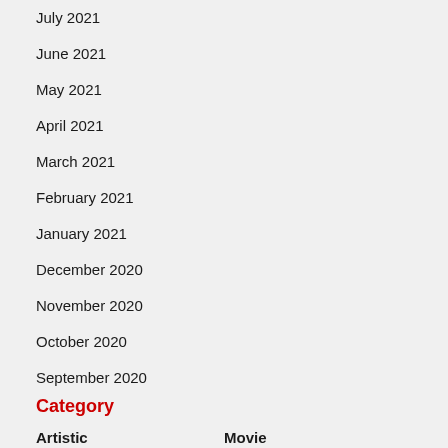July 2021
June 2021
May 2021
April 2021
March 2021
February 2021
January 2021
December 2020
November 2020
October 2020
September 2020
Category
Artistic
Movie
Business
Music
Crypto
National